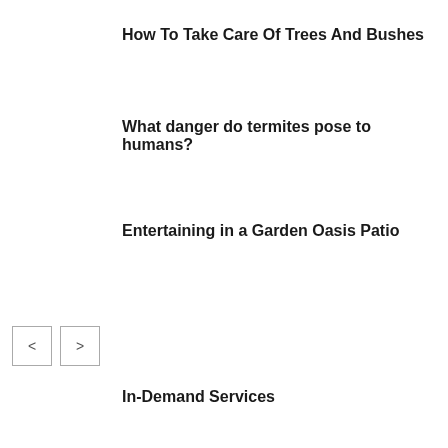How To Take Care Of Trees And Bushes
What danger do termites pose to humans?
Entertaining in a Garden Oasis Patio
< >
In-Demand Services